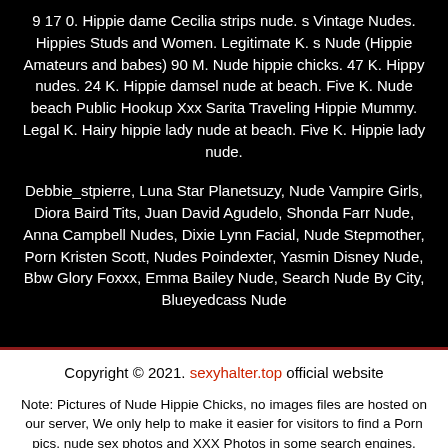9 17 0. Hippie dame Cecilia strips nude. s Vintage Nudes. Hippies Studs and Women. Legitimate K. s Nude (Hippie Amateurs and babes) 90 M. Nude hippie chicks. 47 K. Hippy nudes. 24 K. Hippie damsel nude at beach. Five K. Nude beach Public Hookup Xxx Sarita Traveling Hippie Mummy. Legal K. Hairy hippie lady nude at beach. Five K. Hippie lady nude.
Debbie_stpierre, Luna Star Planetsuzy, Nude Vampire Girls, Diora Baird Tits, Juan David Agudelo, Shonda Farr Nude, Anna Campbell Nudes, Dixie Lynn Facial, Nude Stepmother, Porn Kristen Scott, Nudes Poindexter, Yasmin Disney Nude, Bbw Glory Foxxx, Emma Bailey Nude, Search Nude By City, Blueyedcass Nude
Copyright © 2021. sexyhalter.top official website
Note: Pictures of Nude Hippie Chicks, no images files are hosted on our server, We only help to make it easier for visitors to find a Porn pics, nude sex photos and XXX Photos in some search engines. sexyhalter.top is not responsible for third party website content. If one of this file is your intelectual property (copyright infringement) or child pornography / immature sounds, please send report to abusedmsa[at]protonmail.com.